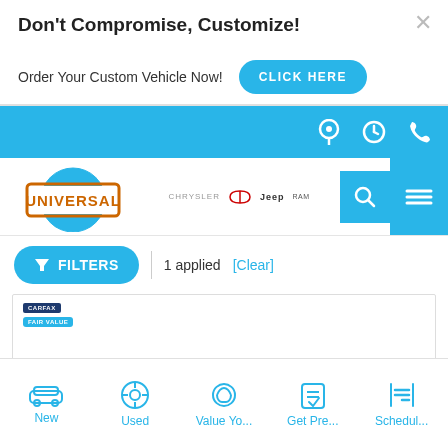Don't Compromise, Customize!
Order Your Custom Vehicle Now!
[Figure (screenshot): Blue navigation bar with location, clock, and phone icons in white]
[Figure (logo): Universal dealership logo with blue circle and orange/white badge, alongside Chrysler, Ram, Jeep, Ram brand logos]
FILTERS | 1 applied [Clear]
Our Price
$17,990
[Figure (screenshot): Bottom navigation bar with New, Used, Value Yo..., Get Pre..., Schedul... tabs in blue with icons]